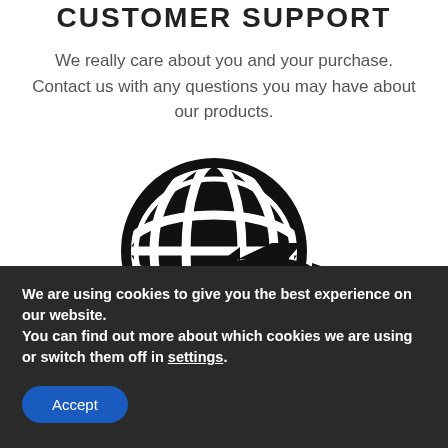CUSTOMER SUPPORT
We really care about you and your purchase. Contact us with any questions you may have about our products.
[Figure (illustration): Black icon of a globe with latitude/longitude grid lines and an airplane silhouette flying in front of it, representing international travel or global delivery.]
We are using cookies to give you the best experience on our website.
You can find out more about which cookies we are using or switch them off in settings.
Accept